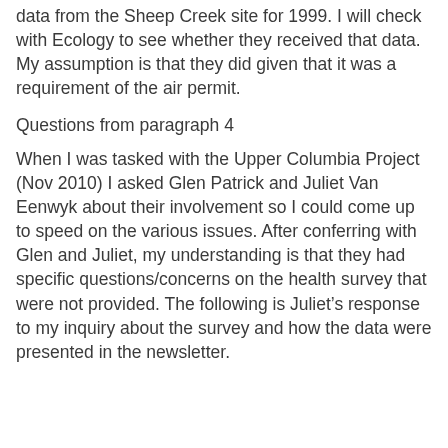data from the Sheep Creek site for 1999.  I will check with Ecology to see whether they received that data.  My assumption is that they did given that it was a requirement of the air permit.
Questions from paragraph 4
When I was tasked with the Upper Columbia Project (Nov 2010) I asked Glen Patrick and Juliet Van Eenwyk about their involvement so I could come up to speed on the various issues.  After conferring with Glen and Juliet, my understanding is that they had specific questions/concerns on the health survey that were not provided.  The following is Juliet’s response to my inquiry about the survey and how the data were presented in the newsletter.